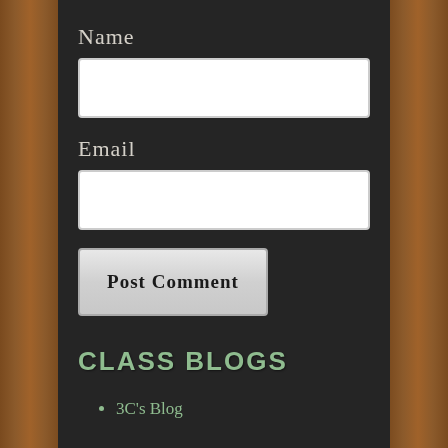Name
[Figure (other): White input text box for Name field]
Email
[Figure (other): White input text box for Email field]
Post Comment
CLASS BLOGS
3C's Blog